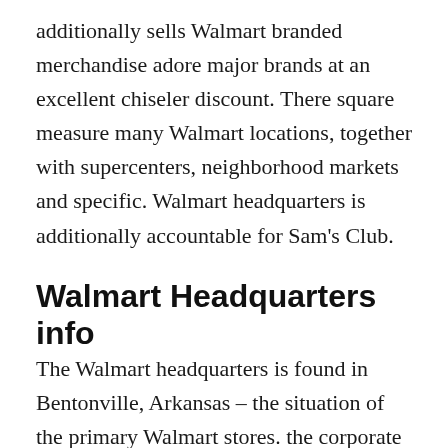additionally sells Walmart branded merchandise adore major brands at an excellent chiseler discount. There square measure many Walmart locations, together with supercenters, neighborhood markets and specific. Walmart headquarters is additionally accountable for Sam's Club.
Walmart Headquarters info
The Walmart headquarters is found in Bentonville, Arkansas – the situation of the primary Walmart stores. the corporate was